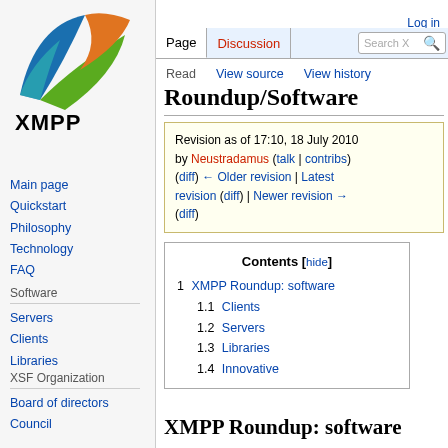[Figure (logo): XMPP logo: colorful arrow-like wing shapes in blue, green, and orange above bold black text XMPP]
Log in
Page | Discussion | Read | View source | View history | Search X
Roundup/Software
Revision as of 17:10, 18 July 2010 by Neustradamus (talk | contribs) (diff) ← Older revision | Latest revision (diff) | Newer revision → (diff)
1 XMPP Roundup: software
1.1 Clients
1.2 Servers
1.3 Libraries
1.4 Innovative
Main page
Quickstart
Philosophy
Technology
FAQ
Software
Servers
Clients
Libraries
XSF Organization
Board of directors
Council
XMPP Roundup: software